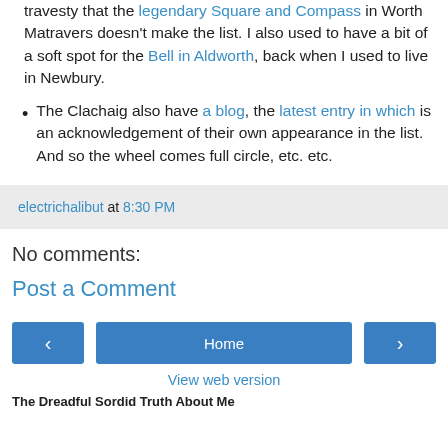travesty that the legendary Square and Compass in Worth Matravers doesn't make the list. I also used to have a bit of a soft spot for the Bell in Aldworth, back when I used to live in Newbury.
The Clachaig also have a blog, the latest entry in which is an acknowledgement of their own appearance in the list. And so the wheel comes full circle, etc. etc.
electrichalibut at 8:30 PM
No comments:
Post a Comment
Home
View web version
The Dreadful Sordid Truth About Me